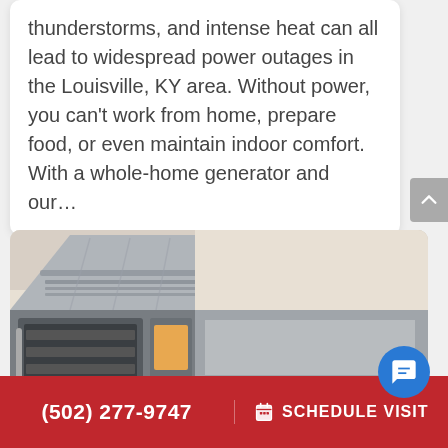thunderstorms, and intense heat can all lead to widespread power outages in the Louisville, KY area. Without power, you can't work from home, prepare food, or even maintain indoor comfort. With a whole-home generator and our…
[Figure (photo): Commercial kitchen with stainless steel range hood ventilation system and oven equipment]
(502) 277-9747  SCHEDULE VISIT